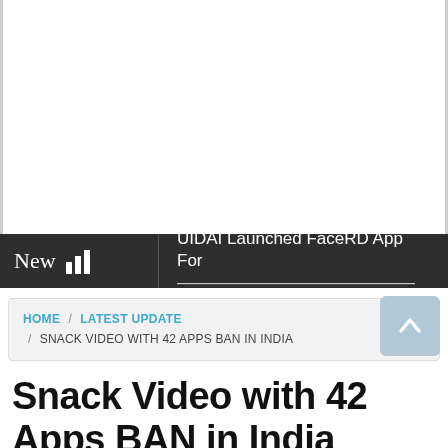[Figure (other): Advertisement/blank white area at top of page]
New | UIDAI Launched FaceRD App For ...
HOME / LATEST UPDATE / SNACK VIDEO WITH 42 APPS BAN IN INDIA
Snack Video with 42 Apps BAN in India
NOVEMBER 24, 2020  NET ODISHA